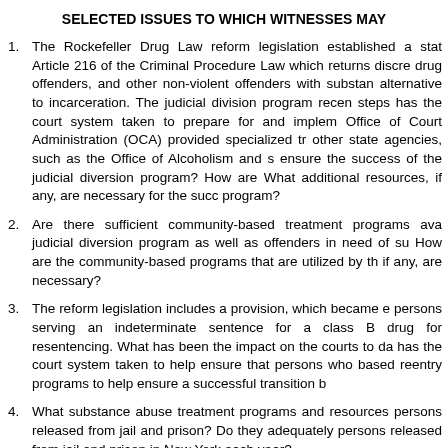SELECTED ISSUES TO WHICH WITNESSES MAY
The Rockefeller Drug Law reform legislation established a state Article 216 of the Criminal Procedure Law which returns discre drug offenders, and other non-violent offenders with substan alternative to incarceration. The judicial division program recen steps has the court system taken to prepare for and implem Office of Court Administration (OCA) provided specialized tra other state agencies, such as the Office of Alcoholism and s ensure the success of the judicial diversion program? How are What additional resources, if any, are necessary for the succ program?
Are there sufficient community-based treatment programs ava judicial diversion program as well as offenders in need of su How are the community-based programs that are utilized by the if any, are necessary?
The reform legislation includes a provision, which became e persons serving an indeterminate sentence for a class B drug for resentencing. What has been the impact on the courts to da has the court system taken to help ensure that persons who based reentry programs to help ensure a successful transition b
What substance abuse treatment programs and resources persons released from jail and prison? Do they adequately persons released from jail and prison in New York each year?
Are there adequate treatment programs in the...